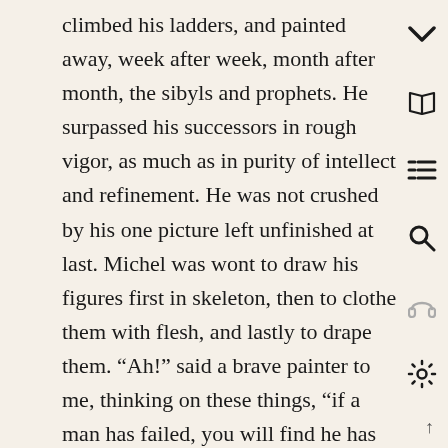climbed his ladders, and painted away, week after week, month after month, the sibyls and prophets. He surpassed his successors in rough vigor, as much as in purity of intellect and refinement. He was not crushed by his one picture left unfinished at last. Michel was wont to draw his figures first in skeleton, then to clothe them with flesh, and lastly to drape them. “Ah!” said a brave painter to me, thinking on these things, “if a man has failed, you will find he has dreamed instead of working. There is no way to success in our art, but to take off your coat, grind paint, and work like a digger on the railroad, all day and every day.”

Success goes thus invariably with a certain plus